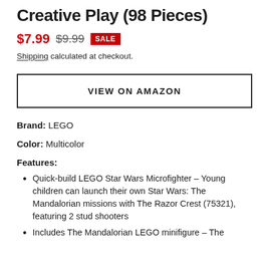Creative Play (98 Pieces)
$7.99  $9.99  SALE
Shipping calculated at checkout.
VIEW ON AMAZON
Brand: LEGO
Color: Multicolor
Features:
Quick-build LEGO Star Wars Microfighter – Young children can launch their own Star Wars: The Mandalorian missions with The Razor Crest (75321), featuring 2 stud shooters
Includes The Mandalorian LEGO minifigure – The